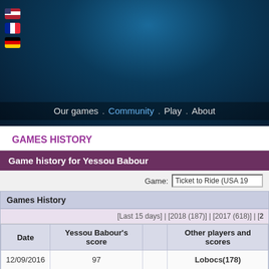[Figure (screenshot): Dark blue gradient header background with flags (US, France, Germany) on the left]
Our games . Community . Play . About
GAMES HISTORY
| Date | Yessou Babour's score |  | Other players and scores |
| --- | --- | --- | --- |
| 12/09/2016 | 97 |  | Lobocs(178) |
| 12/07/2016 | 74 |  | zucu zucu(133) |
| 12/07/2016 | 122 |  | freterm(160) - vickkey(14... |
| 12/07/2016 | 205 | 🙂 | freterm(120) |